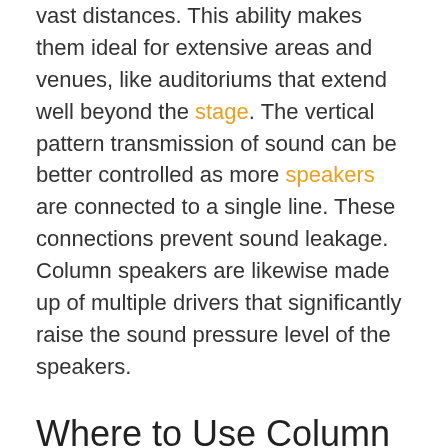vast distances. This ability makes them ideal for extensive areas and venues, like auditoriums that extend well beyond the stage. The vertical pattern transmission of sound can be better controlled as more speakers are connected to a single line. These connections prevent sound leakage. Column speakers are likewise made up of multiple drivers that significantly raise the sound pressure level of the speakers.
Where to Use Column Speakers?
Several factors influence the type of speakers that could be used in a particular venue, but one of the most important is always the